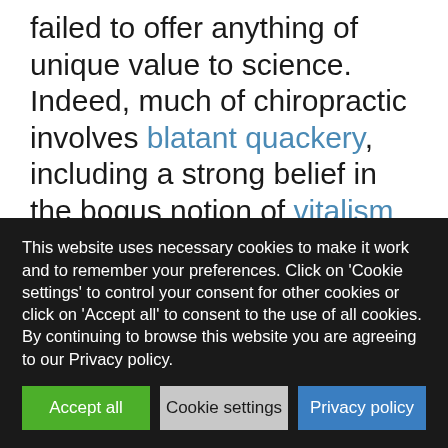failed to offer anything of unique value to science. Indeed, much of chiropractic involves blatant quackery, including a strong belief in the bogus notion of vitalism (an immeasurable and un-observable force), and cult-like references to chiropracTIC and vitalisTIC, which
This website uses necessary cookies to make it work and to remember your preferences. Click on 'Cookie settings' to control your consent for other cookies or click on 'Accept all' to consent to the use of all cookies. By continuing to browse this website you are agreeing to our Privacy policy.